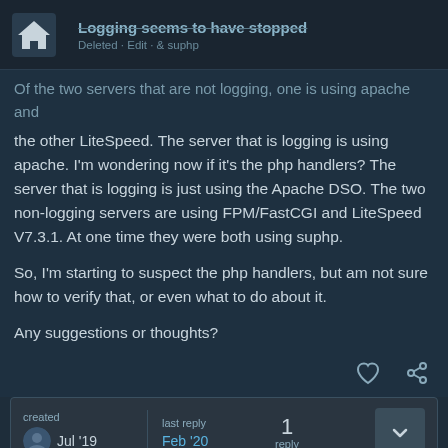Logging seems to have stopped
Of the two servers that are not logging, one is using apache and the other LiteSpeed. The server that is logging is using apache. I'm wondering now if it's the php handlers? The server that is logging is just using the Apache DSO. The two non-logging servers are using FPM/FastCGI and LiteSpeed V7.3.1. At one time they were both using suphp.
So, I'm starting to suspect the php handlers, but am not sure how to verify that, or even what to do about it.
Any suggestions or thoughts?
created Jul '19   last reply Feb '20   1 reply
8 MONTHS LATER   1 / 2